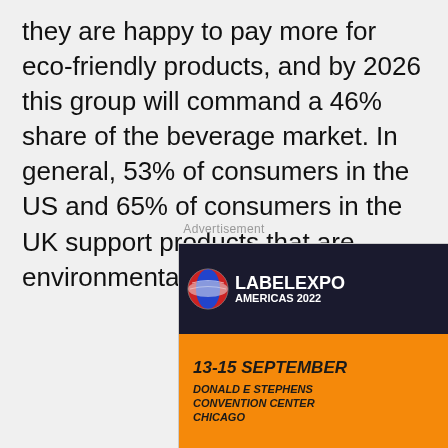they are happy to pay more for eco-friendly products, and by 2026 this group will command a 46% share of the beverage market. In general, 53% of consumers in the US and 65% of consumers in the UK support products that are environmentally friendly.
Advertisement
[Figure (other): Labelexpo Americas 2022 advertisement banner. Shows futuristic robot soccer players on a green field with stadium background. Orange panel with text: 13-15 SEPTEMBER, DONALD E STEPHENS CONVENTION CENTER CHICAGO. Labelexpo globe logo in upper left. Blue X close button in upper right corner.]